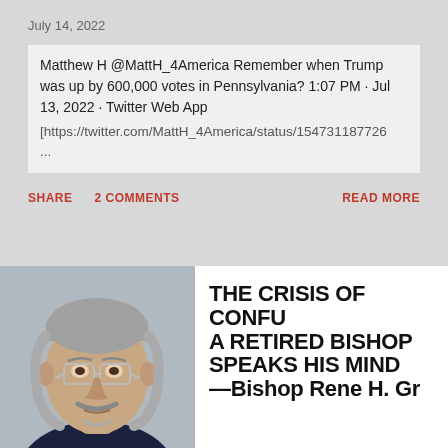July 14, 2022
Matthew H @MattH_4America Remember when Trump was up by 600,000 votes in Pennsylvania? 1:07 PM · Jul 13, 2022 · Twitter Web App
[https://twitter.com/MattH_4America/status/154731187726 ...
SHARE
2 COMMENTS
READ MORE
[Figure (photo): Headshot of an older man with gray hair, glasses, and a mustache, wearing a dark jacket — Bishop Rene H. Gracida]
THE CRISIS OF CONFU A RETIRED BISHOP SPEAKS HIS MIND —Bishop Rene H. Gr